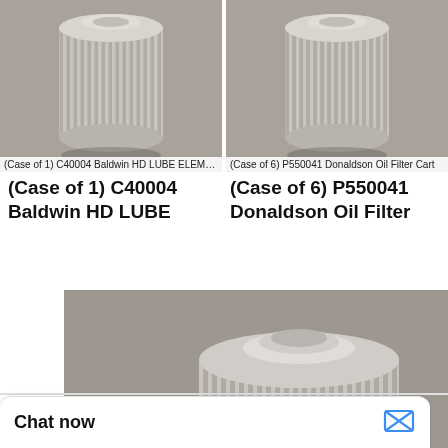[Figure (photo): Product thumbnail photo of a cylindrical oil filter with corrugated metal body, showing top portion, gray background. Overlay caption: (Case of 1) C40004 Baldwin HD LUBE ELEMEN]
[Figure (photo): Product thumbnail photo of a cylindrical oil filter with corrugated metal body, showing top portion, gray background. Overlay caption: (Case of 6) P550041 Donaldson Oil Filter Cart]
(Case of 1) C40004 Baldwin HD LUBE
(Case of 6) P550041 Donaldson Oil Filter
[Figure (photo): Large product photo of a cylindrical Donaldson oil filter cartridge with corrugated metal body, full view, silver/gray. Overlay caption: (Case of 12) P550528 Donaldson Oil Filter Ca]
(Case of 12) P550528 Donaldson Oil Filter
[Figure (logo): WhatsApp logo icon (green circle with white phone handset) with text 'WhatsApp Online' below in bold italic]
WhatsApp Online
×
• • •
Chat now